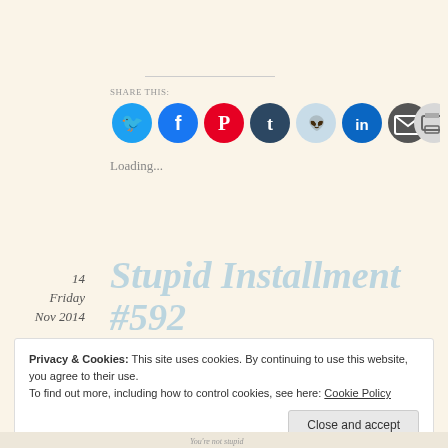Share this:
[Figure (infographic): Row of social media share icon circles: Twitter (light blue), Facebook (blue), Pinterest (red), Tumblr (dark navy), Reddit (light blue-gray), LinkedIn (teal), Email (dark gray), Print (light gray)]
Loading...
14
Friday
Nov 2014
Stupid Installment #592
Privacy & Cookies: This site uses cookies. By continuing to use this website, you agree to their use.
To find out more, including how to control cookies, see here: Cookie Policy
Close and accept